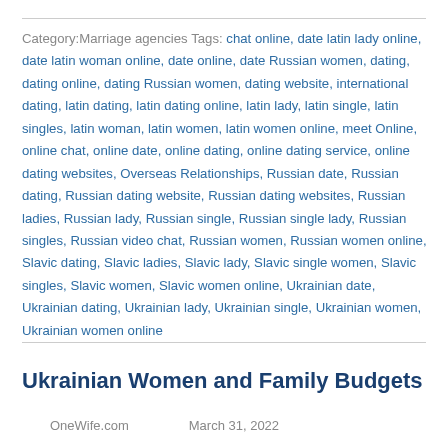Category:Marriage agencies Tags: chat online, date latin lady online, date latin woman online, date online, date Russian women, dating, dating online, dating Russian women, dating website, international dating, latin dating, latin dating online, latin lady, latin single, latin singles, latin woman, latin women, latin women online, meet Online, online chat, online date, online dating, online dating service, online dating websites, Overseas Relationships, Russian date, Russian dating, Russian dating website, Russian dating websites, Russian ladies, Russian lady, Russian single, Russian single lady, Russian singles, Russian video chat, Russian women, Russian women online, Slavic dating, Slavic ladies, Slavic lady, Slavic single women, Slavic singles, Slavic women, Slavic women online, Ukrainian date, Ukrainian dating, Ukrainian lady, Ukrainian single, Ukrainian women, Ukrainian women online
Ukrainian Women and Family Budgets
OneWife.com    March 31, 2022